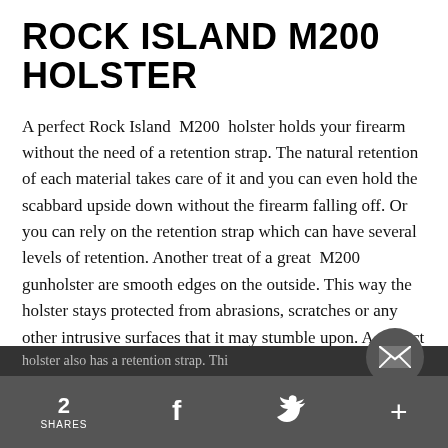ROCK ISLAND M200 HOLSTER
A perfect Rock Island M200 holster holds your firearm without the need of a retention strap. The natural retention of each material takes care of it and you can even hold the scabbard upside down without the firearm falling off. Or you can rely on the retention strap which can have several levels of retention. Another treat of a great M200 gunholster are smooth edges on the outside. This way the holster stays protected from abrasions, scratches or any other intrusive surfaces that it may stumble upon. A perfect finish of a holster is another feature. A Rock Island M...
2 SHARES  f  [twitter]  +